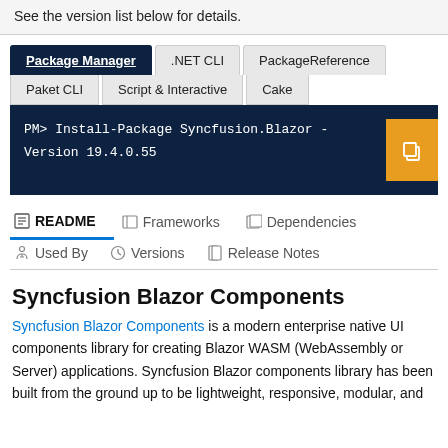See the version list below for details.
Package Manager | .NET CLI | PackageReference | Paket CLI | Script & Interactive | Cake
PM> Install-Package Syncfusion.Blazor -Version 19.4.0.55
README | Frameworks | Dependencies | Used By | Versions | Release Notes
Syncfusion Blazor Components
Syncfusion Blazor Components is a modern enterprise native UI components library for creating Blazor WASM (WebAssembly or Server) applications. Syncfusion Blazor components library has been built from the ground up to be lightweight, responsive, modular, and